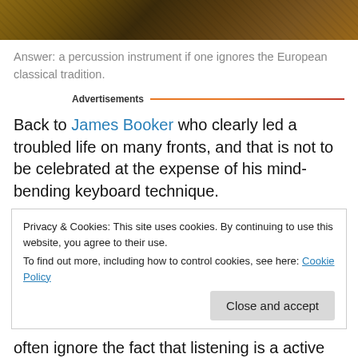[Figure (photo): Cropped photo of an accordion or similar instrument with warm brown/golden tones, partial view of keys and bellows]
Answer: a percussion instrument if one ignores the European classical tradition.
Advertisements
Back to James Booker who clearly led a troubled life on many fronts, and that is not to be celebrated at the expense of his mind-bending keyboard technique.
Privacy & Cookies: This site uses cookies. By continuing to use this website, you agree to their use.
To find out more, including how to control cookies, see here: Cookie Policy
Close and accept
often ignore the fact that listening is a active and rather